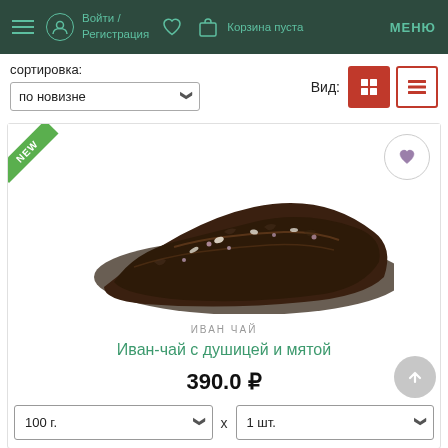Войти / Регистрация  ♡  Корзина пуста  МЕНЮ
сортировка:
по новизне
Вид:
[Figure (photo): Photo of loose leaf Ivan tea blend with oregano and mint on white background. Green NEW badge in top left corner. Heart favorite button top right.]
ИВАН ЧАЙ
Иван-чай с душицей и мятой
390.0 ₽
100 г.
x
1 шт.